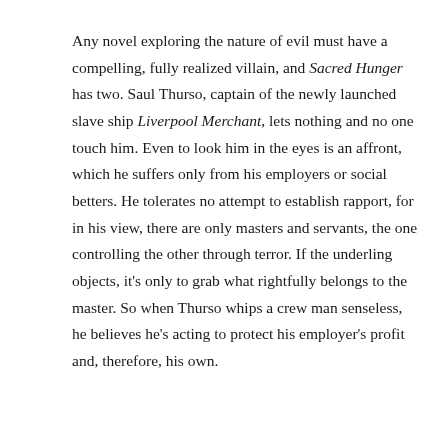Any novel exploring the nature of evil must have a compelling, fully realized villain, and Sacred Hunger has two. Saul Thurso, captain of the newly launched slave ship Liverpool Merchant, lets nothing and no one touch him. Even to look him in the eyes is an affront, which he suffers only from his employers or social betters. He tolerates no attempt to establish rapport, for in his view, there are only masters and servants, the one controlling the other through terror. If the underling objects, it's only to grab what rightfully belongs to the master. So when Thurso whips a crew man senseless, he believes he's acting to protect his employer's profit and, therefore, his own.